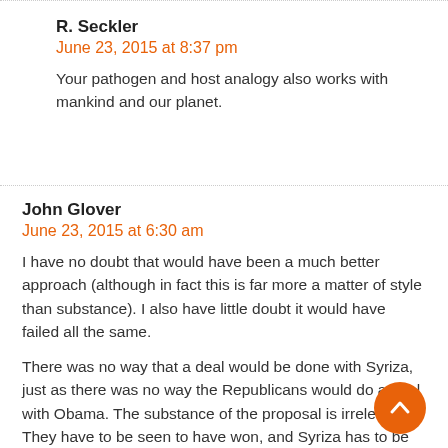R. Seckler
June 23, 2015 at 8:37 pm
Your pathogen and host analogy also works with mankind and our planet.
John Glover
June 23, 2015 at 6:30 am
I have no doubt that would have been a much better approach (although in fact this is far more a matter of style than substance). I also have little doubt it would have failed all the same.
There was no way that a deal would be done with Syriza, just as there was no way the Republicans would do a deal with Obama. The substance of the proposal is irrelevant. They have to be seen to have won, and Syriza has to be seen as having lost.